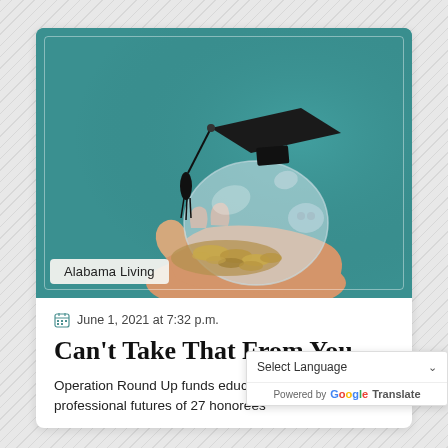[Figure (photo): A hand holding a clear glass piggy bank filled with coins, wearing a black graduation cap on top, against a teal/green background]
Alabama Living
June 1, 2021 at 7:32 p.m.
Can't Take That From You
Operation Round Up funds educati… professional futures of 27 honorees